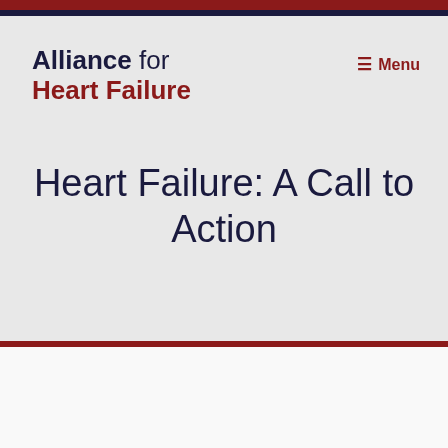Alliance for Heart Failure
Heart Failure: A Call to Action
Heart Failure: A Call to Action